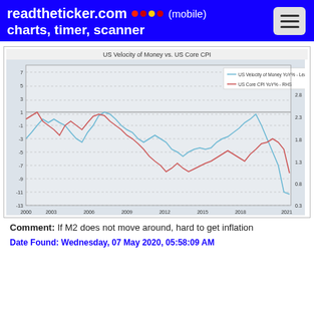readtheticker.com (mobile) charts, timer, scanner
[Figure (line-chart): Dual-axis line chart showing US Velocity of Money YoY% (blue, lead 20 months) vs US Core CPI YoY% (red, RHS) from 2000 to 2021. Left axis ranges from -13 to 7. Right axis ranges from 0.3 to 3.3.]
Comment: If M2 does not move around, hard to get inflation
Date Found: Wednesday, 07 May 2020, 05:58:09 AM